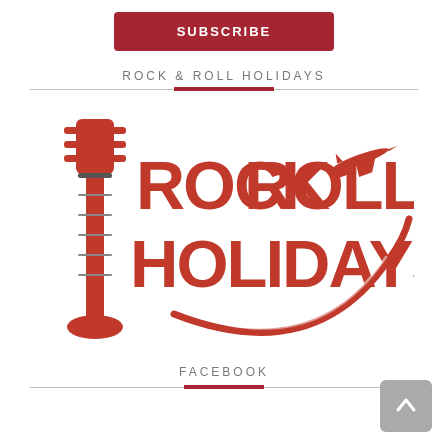SUBSCRIBE
ROCK & ROLL HOLIDAYS
[Figure (logo): Rock & Roll Holidays logo with red guitar neck on left, bold red text ROCK&ROLL HOLIDAYS, airplane and swoosh arc on right]
FACEBOOK